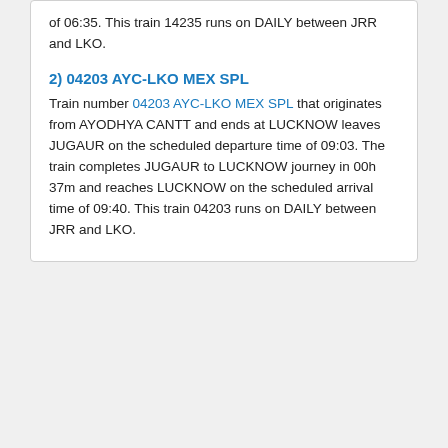of 06:35. This train 14235 runs on DAILY between JRR and LKO.
2) 04203 AYC-LKO MEX SPL
Train number 04203 AYC-LKO MEX SPL that originates from AYODHYA CANTT and ends at LUCKNOW leaves JUGAUR on the scheduled departure time of 09:03. The train completes JUGAUR to LUCKNOW journey in 00h 37m and reaches LUCKNOW on the scheduled arrival time of 09:40. This train 04203 runs on DAILY between JRR and LKO.